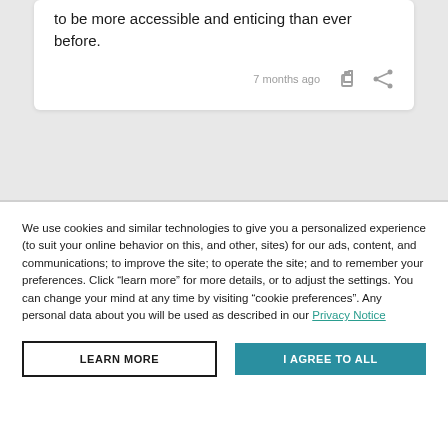to be more accessible and enticing than ever before.
7 months ago
We use cookies and similar technologies to give you a personalized experience (to suit your online behavior on this, and other, sites) for our ads, content, and communications; to improve the site; to operate the site; and to remember your preferences. Click “learn more” for more details, or to adjust the settings. You can change your mind at any time by visiting “cookie preferences”. Any personal data about you will be used as described in our Privacy Notice
LEARN MORE
I AGREE TO ALL